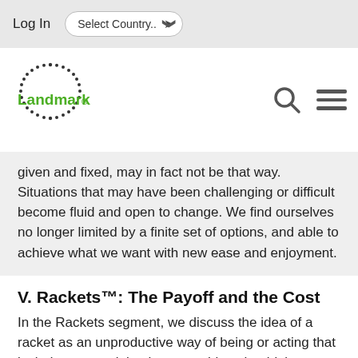Log In   Select Country..
[Figure (logo): Landmark logo with dotted circle and green 'Landmark' text]
given and fixed, may in fact not be that way. Situations that may have been challenging or difficult become fluid and open to change. We find ourselves no longer limited by a finite set of options, and able to achieve what we want with new ease and enjoyment.
V. Rackets™: The Payoff and the Cost
In the Rackets segment, we discuss the idea of a racket as an unproductive way of being or acting that includes a complaint that something shouldn't